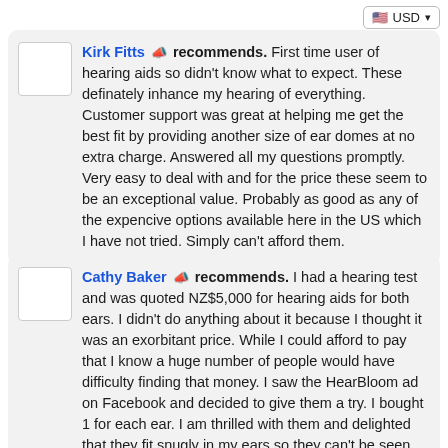USD currency selector button
Kirk Fitts recommends. First time user of hearing aids so didn't know what to expect. These definately inhance my hearing of everything. Customer support was great at helping me get the best fit by providing another size of ear domes at no extra charge. Answered all my questions promptly. Very easy to deal with and for the price these seem to be an exceptional value. Probably as good as any of the expencive options available here in the US which I have not tried. Simply can't afford them.
Cathy Baker recommends. I had a hearing test and was quoted NZ$5,000 for hearing aids for both ears. I didn't do anything about it because I thought it was an exorbitant price. While I could afford to pay that I know a huge number of people would have difficulty finding that money. I saw the HearBloom ad on Facebook and decided to give them a try. I bought 1 for each ear. I am thrilled with them and delighted that they fit snugly in my ears so they can't be seen instead of